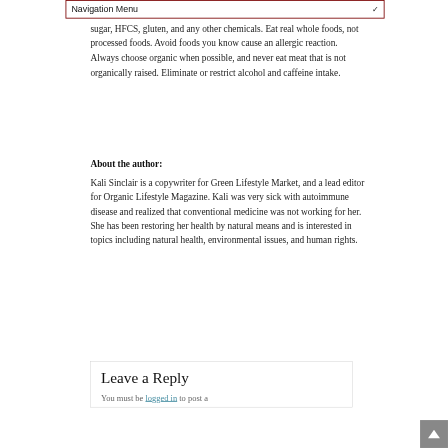Navigation Menu
sugar, HFCS, gluten, and any other chemicals. Eat real whole foods, not processed foods. Avoid foods you know cause an allergic reaction. Always choose organic when possible, and never eat meat that is not organically raised. Eliminate or restrict alcohol and caffeine intake.
About the author:
Kali Sinclair is a copywriter for Green Lifestyle Market, and a lead editor for Organic Lifestyle Magazine. Kali was very sick with autoimmune disease and realized that conventional medicine was not working for her. She has been restoring her health by natural means and is interested in topics including natural health, environmental issues, and human rights.
Leave a Reply
You must be logged in to post a